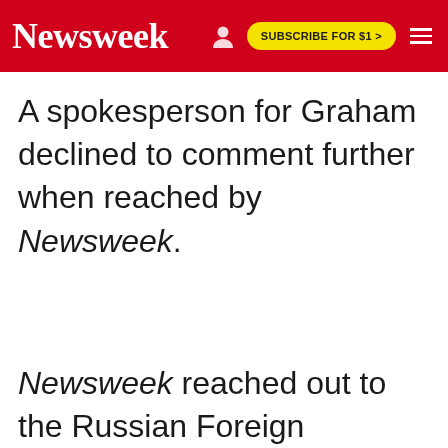Newsweek | SUBSCRIBE FOR $1 >
A spokesperson for Graham declined to comment further when reached by Newsweek.
Newsweek reached out to the Russian Foreign